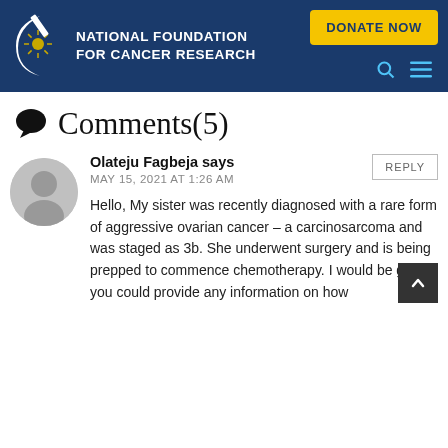[Figure (logo): National Foundation for Cancer Research logo with white crescent moon and yellow sunburst design, white text on dark blue background. 'DONATE NOW' yellow button in top right. Search and menu icons at bottom right.]
Comments(5)
Olateju Fagbeja says
MAY 15, 2021 AT 1:26 AM
Hello, My sister was recently diagnosed with a rare form of aggressive ovarian cancer – a carcinosarcoma and was staged as 3b. She underwent surgery and is being prepped to commence chemotherapy. I would be glad if you could provide any information on how